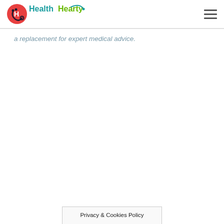HealthHearty
a replacement for expert medical advice.
Privacy & Cookies Policy